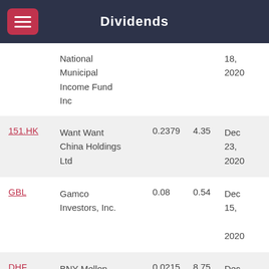Dividends
| Ticker | Name | Value1 | Value2 | Date |
| --- | --- | --- | --- | --- |
|  | National Municipal Income Fund Inc |  |  | 18, 2020 |
| 151.HK | Want Want China Holdings Ltd | 0.2379 | 4.35 | Dec 23, 2020 |
| GBL | Gamco Investors, Inc. | 0.08 | 0.54 | Dec 15, 2020 |
| DHF | BNY Mellon High Yield | 0.0215 | 8.75 | Dec 18, 2020 |